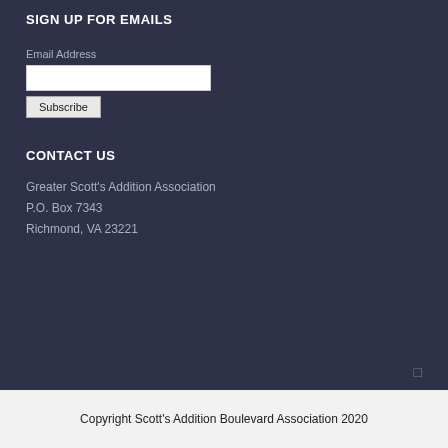SIGN UP FOR EMAILS
Email Address
Subscribe
CONTACT US
Greater Scott's Addition Association
P.O. Box 7343
Richmond, VA 23221
Copyright Scott's Addition Boulevard Association 2020